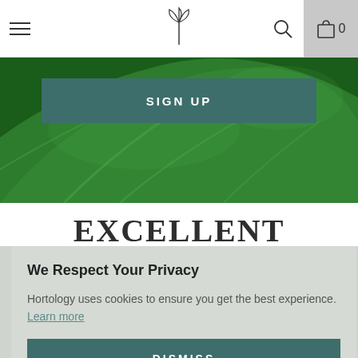Navigation bar with hamburger menu, plant logo, search icon, and cart (0)
[Figure (photo): Close-up of large green tropical leaves (monstera/taro), used as hero background image]
SIGN UP
EXCELLENT
[Figure (infographic): Five orange star/arrow icons in a row representing a 5-star rating]
We Respect Your Privacy
Hortology uses cookies to ensure you get the best experience. Learn more
DISMISS
far quicker. They are all really good quality & fresh stunning. I will definitely be back for more.